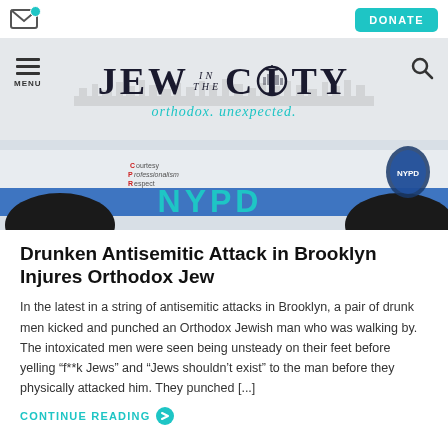[Figure (logo): Jew in the City website header logo with tagline 'orthodox. unexpected.' and navigation icons including menu, search, email, and donate button]
[Figure (photo): Close-up photo of an NYPD police car door showing blue NYPD lettering and CPR (Courtesy Professionalism Respect) text]
Drunken Antisemitic Attack in Brooklyn Injures Orthodox Jew
In the latest in a string of antisemitic attacks in Brooklyn, a pair of drunk men kicked and punched an Orthodox Jewish man who was walking by. The intoxicated men were seen being unsteady on their feet before yelling “f**k Jews” and “Jews shouldn’t exist” to the man before they physically attacked him. They punched [...]
CONTINUE READING →